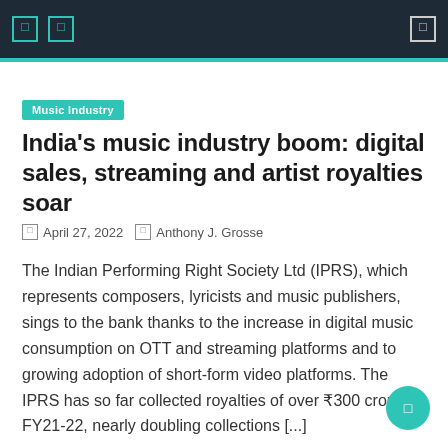Navigation bar with icons and search
Music Industry
India's music industry boom: digital sales, streaming and artist royalties soar
April 27, 2022   Anthony J. Grosse
The Indian Performing Right Society Ltd (IPRS), which represents composers, lyricists and music publishers, sings to the bank thanks to the increase in digital music consumption on OTT and streaming platforms and to growing adoption of short-form video platforms. The IPRS has so far collected royalties of over ₹300 crore in FY21-22, nearly doubling collections [...]